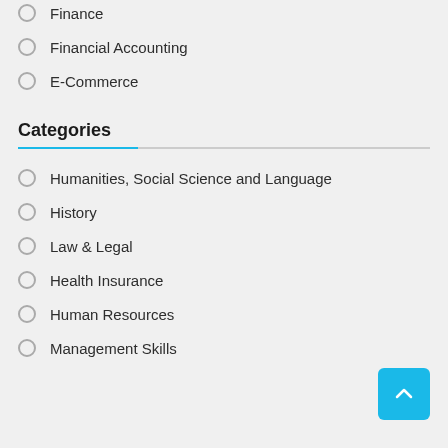Finance
Financial Accounting
E-Commerce
Categories
Humanities, Social Science and Language
History
Law & Legal
Health Insurance
Human Resources
Management Skills